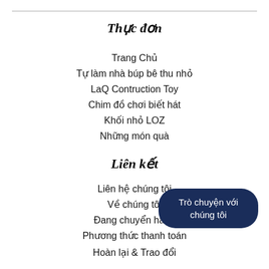Thực đơn
Trang Chủ
Tự làm nhà búp bê thu nhỏ
LaQ Contruction Toy
Chim đồ chơi biết hát
Khối nhỏ LOZ
Những món quà
Liên kết
Liên hệ chúng tôi
Về chúng tôi
Đang chuyển hàng
Phương thức thanh toán
Hoàn lại & Trao đổi
Trò chuyện với chúng tôi